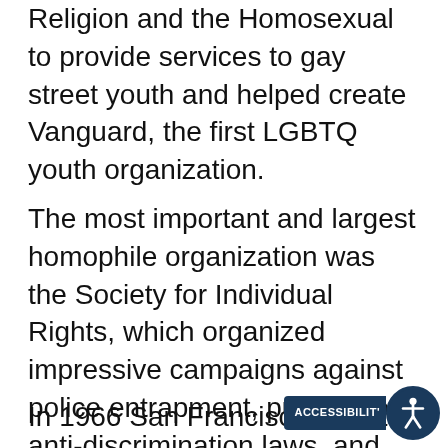Religion and the Homosexual to provide services to gay street youth and helped create Vanguard, the first LGBTQ youth organization.
The most important and largest homophile organization was the Society for Individual Rights, which organized impressive campaigns against police entrapment, pushed for anti-discrimination laws, and won the building of a gay community center, making it a force to be reckoned with in city politics.
In 1966 San Francisco saw its own